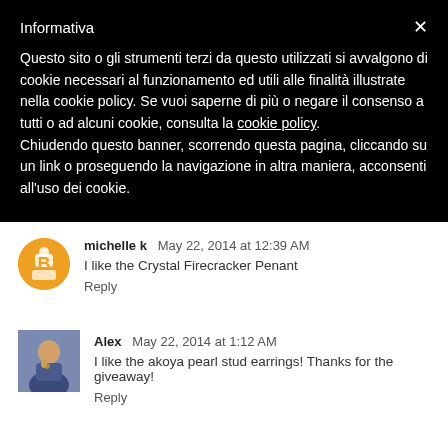Informativa
Questo sito o gli strumenti terzi da questo utilizzati si avvalgono di cookie necessari al funzionamento ed utili alle finalità illustrate nella cookie policy. Se vuoi saperne di più o negare il consenso a tutti o ad alcuni cookie, consulta la cookie policy.
Chiudendo questo banner, scorrendo questa pagina, cliccando su un link o proseguendo la navigazione in altra maniera, acconsenti all'uso dei cookie.
michelle k  May 22, 2014 at 12:39 AM
I like the Crystal Firecracker Penant
Reply
Alex  May 22, 2014 at 1:12 AM
I like the akoya pearl stud earrings! Thanks for the giveaway!
Reply